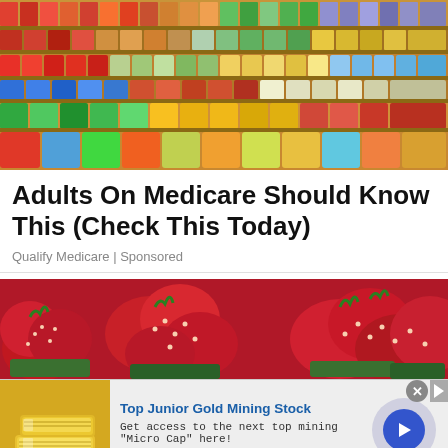[Figure (photo): A wide shot of grocery store shelves densely stocked with colorful packaged food products, canned goods, and various consumer items arranged across multiple rows.]
Adults On Medicare Should Know This (Check This Today)
Qualify Medicare | Sponsored
[Figure (photo): Close-up photo of red strawberries in green cardboard containers at a market stall.]
[Figure (photo): Advertisement banner showing gold bars. Title: Top Junior Gold Mining Stock. Description: Get access to the next top mining "Micro Cap" here! URL: www.rivres.com]